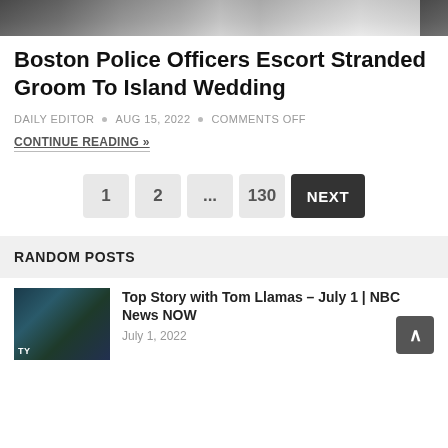[Figure (screenshot): Top portion of a news website showing a cropped banner image with blurred figures]
Boston Police Officers Escort Stranded Groom To Island Wedding
DAILY EDITOR • AUG 15, 2022 • COMMENTS OFF
CONTINUE READING »
1  2  ...  130  NEXT
RANDOM POSTS
[Figure (screenshot): Thumbnail of a news anchor on TV set for NBC News NOW]
Top Story with Tom Llamas – July 1 | NBC News NOW
July 1, 2022